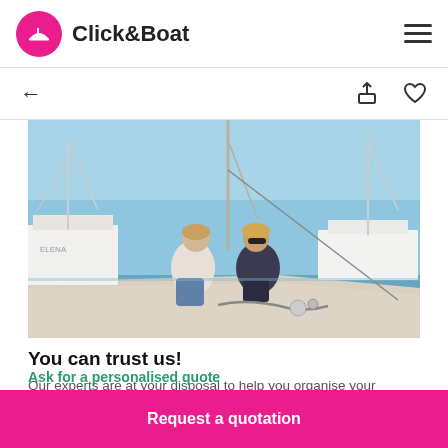Click&Boat
[Figure (photo): Two people crouching on a boat dock tying ropes, with sailboats and blue water in the background at a marina.]
You can trust us!
Our experts are at your disposal to help you organise your bespoke sailing trip.
Request a quotation
Ask for a personalised quote